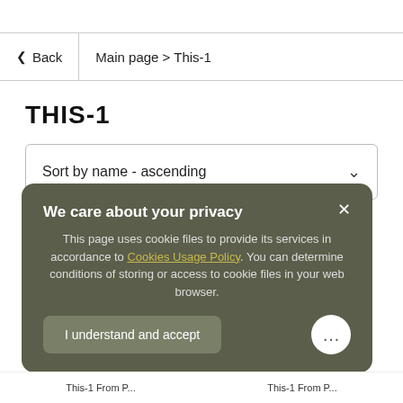Back | Main page > This-1
THIS-1
Sort by name - ascending
We care about your privacy
This page uses cookie files to provide its services in accordance to Cookies Usage Policy. You can determine conditions of storing or access to cookie files in your web browser.
I understand and accept